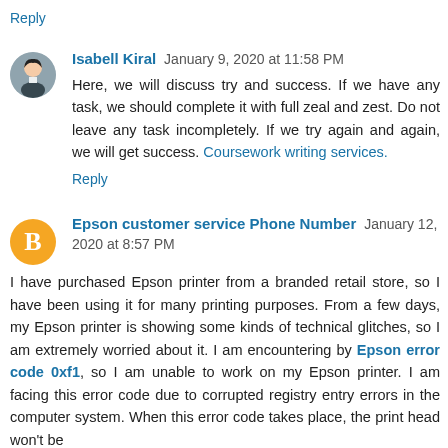Reply
Isabell Kiral  January 9, 2020 at 11:58 PM
Here, we will discuss try and success. If we have any task, we should complete it with full zeal and zest. Do not leave any task incompletely. If we try again and again, we will get success. Coursework writing services.
Reply
Epson customer service Phone Number  January 12, 2020 at 8:57 PM
I have purchased Epson printer from a branded retail store, so I have been using it for many printing purposes. From a few days, my Epson printer is showing some kinds of technical glitches, so I am extremely worried about it. I am encountering by Epson error code 0xf1, so I am unable to work on my Epson printer. I am facing this error code due to corrupted registry entry errors in the computer system. When this error code takes place, the print head won't be